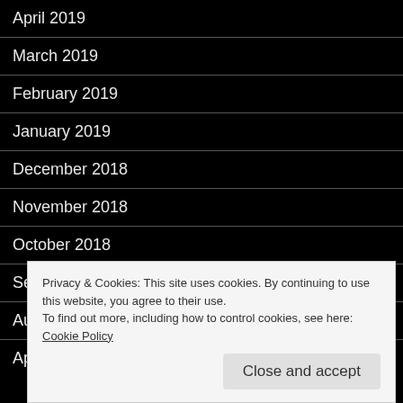April 2019
March 2019
February 2019
January 2019
December 2018
November 2018
October 2018
September 2018
August 2018
April 2018
Privacy & Cookies: This site uses cookies. By continuing to use this website, you agree to their use.
To find out more, including how to control cookies, see here: Cookie Policy
Close and accept